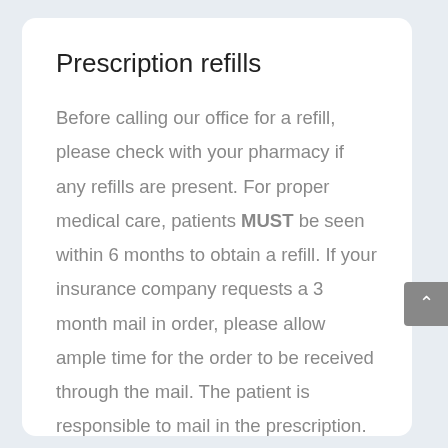Prescription refills
Before calling our office for a refill, please check with your pharmacy if any refills are present. For proper medical care, patients MUST be seen within 6 months to obtain a refill. If your insurance company requests a 3 month mail in order, please allow ample time for the order to be received through the mail. The patient is responsible to mail in the prescription. The office staff will make every effort to refill a prescription on the